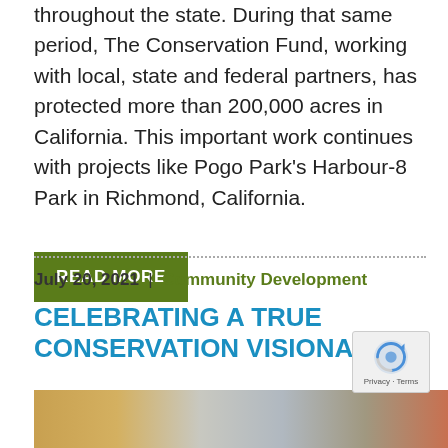throughout the state. During that same period, The Conservation Fund, working with local, state and federal partners, has protected more than 200,000 acres in California. This important work continues with projects like Pogo Park's Harbour-8 Park in Richmond, California.
READ MORE
July 20, 2021 | Community Development
CELEBRATING A TRUE CONSERVATION VISIONARY
[Figure (photo): Bottom portion of a photograph showing an indoor or outdoor scene with warm colors, partially visible.]